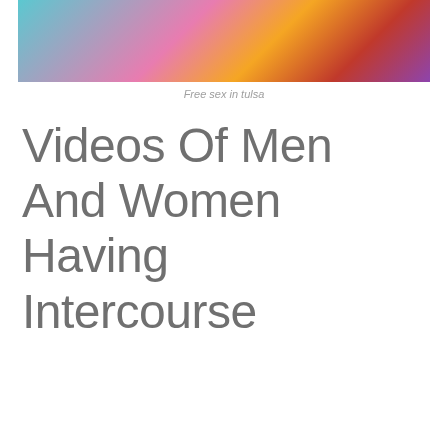[Figure (illustration): Colorful illustrated artwork with teal, pink, orange, red, and purple tones, partially visible at top of page]
Free sex in tulsa
Videos Of Men And Women Having Intercourse